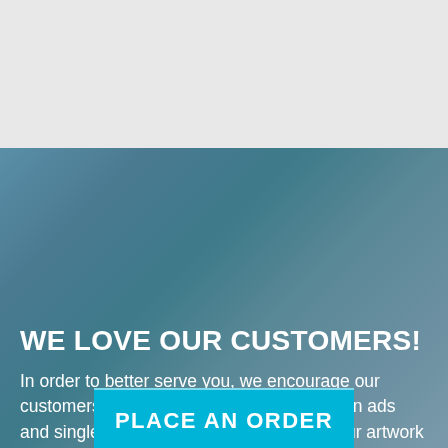[Figure (photo): Top gray/light section, appears to be a background image area (light gray/white)]
WE LOVE OUR CUSTOMERS!
In order to better serve you, we encourage our customers to place orders online for stick on ads and single sheets. You can also upload your artwork during this process. Just click on Place An Order, fill out the form, then submit. You will receive a confirmation whenever your order is processed. Thank you!
PLACE AN ORDER